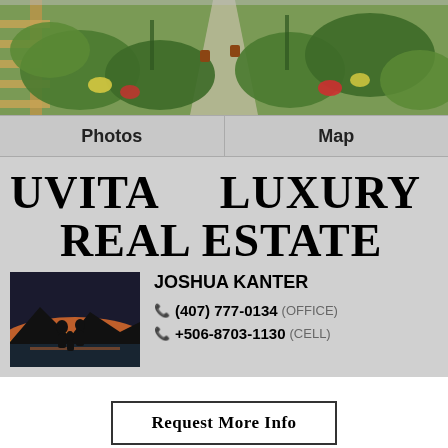[Figure (photo): Aerial/overhead view of a lush tropical garden path with green plants, wooden fencing on sides, colorful bromeliads and tropical plants]
Photos    Map
UVITA LUXURY REAL ESTATE
[Figure (photo): Portrait photo of Joshua Kanter with family, silhouetted against a sunset over water with mountains]
JOSHUA KANTER
(407) 777-0134 (OFFICE)
+506-8703-1130 (CELL)
Request More Info